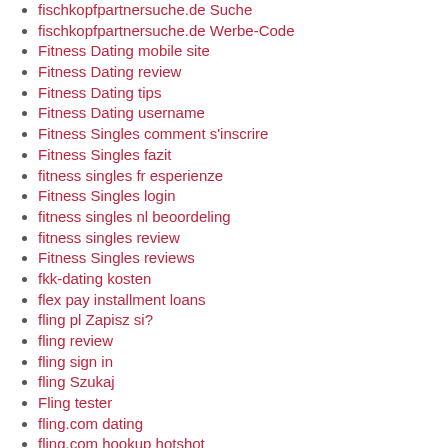fischkopfpartnersuche.de Suche
fischkopfpartnersuche.de Werbe-Code
Fitness Dating mobile site
Fitness Dating review
Fitness Dating tips
Fitness Dating username
Fitness Singles comment s'inscrire
Fitness Singles fazit
fitness singles fr esperienze
Fitness Singles login
fitness singles nl beoordeling
fitness singles review
Fitness Singles reviews
fkk-dating kosten
flex pay installment loans
fling pl Zapisz si?
fling review
fling sign in
fling Szukaj
Fling tester
fling.com dating
fling.com hookup hotshot
Flingster free trial
flingster hookup sites
flingster mobile site